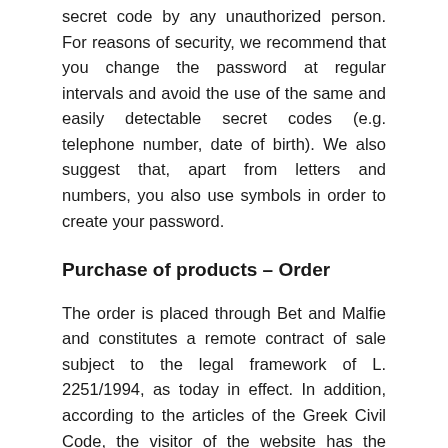secret code by any unauthorized person. For reasons of security, we recommend that you change the password at regular intervals and avoid the use of the same and easily detectable secret codes (e.g. telephone number, date of birth). We also suggest that, apart from letters and numbers, you also use symbols in order to create your password.
Purchase of products – Order
The order is placed through Bet and Malfie and constitutes a remote contract of sale subject to the legal framework of L. 2251/1994, as today in effect. In addition, according to the articles of the Greek Civil Code, the visitor of the website has the opportunity to place a valid order as long as they have the legal capacity to do so, they have reached the age of eighteen and they are not incapacitated with regard to reaching a contract of sale. The orders can also be placed by representatives of legal persons. The